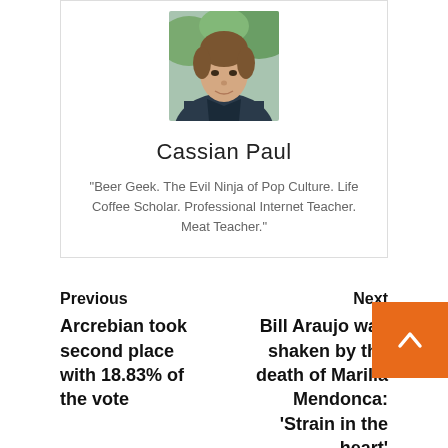[Figure (photo): Headshot photo of Cassian Paul, a young man with light complexion wearing a dark jacket, outdoors with greenery in the background]
Cassian Paul
"Beer Geek. The Evil Ninja of Pop Culture. Life Coffee Scholar. Professional Internet Teacher. Meat Teacher."
Previous
Arcrebian took second place with 18.83% of the vote
Next
Bill Araujo was shaken by the death of Marilia Mendonca: ‘Strain in the heart’
Leave a Reply